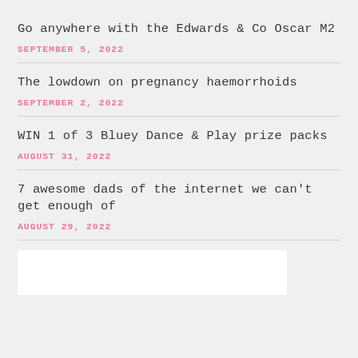Go anywhere with the Edwards & Co Oscar M2
SEPTEMBER 5, 2022
The lowdown on pregnancy haemorrhoids
SEPTEMBER 2, 2022
WIN 1 of 3 Bluey Dance & Play prize packs
AUGUST 31, 2022
7 awesome dads of the internet we can't get enough of
AUGUST 29, 2022
[Figure (other): White rectangular image block at bottom of page]